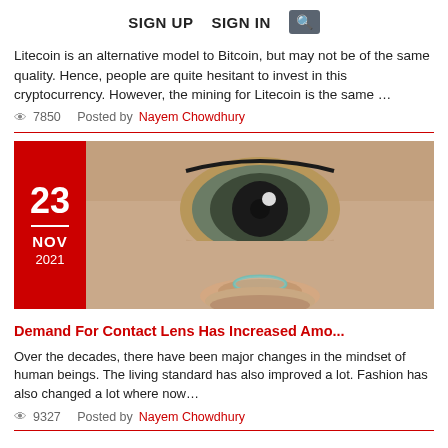SIGN UP   SIGN IN  [search]
Litecoin is an alternative model to Bitcoin, but may not be of the same quality. Hence, people are quite hesitant to invest in this cryptocurrency. However, the mining for Litecoin is the same …
👁 7850   Posted by Nayem Chowdhury
[Figure (photo): Close-up photo of a person's eye and a contact lens held on a fingertip, with a red date badge overlay showing 23 NOV 2021]
Demand For Contact Lens Has Increased Amo...
Over the decades, there have been major changes in the mindset of human beings. The living standard has also improved a lot. Fashion has also changed a lot where now…
👁 9327   Posted by Nayem Chowdhury